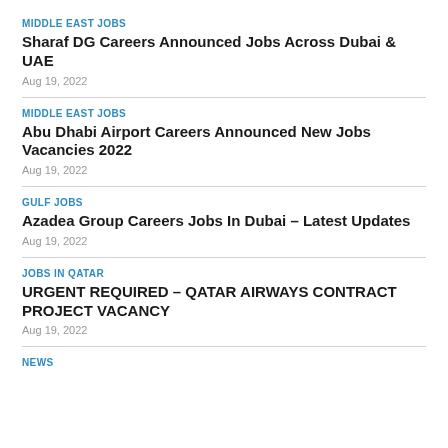MIDDLE EAST JOBS
Sharaf DG Careers Announced Jobs Across Dubai & UAE
Aug 19, 2022
MIDDLE EAST JOBS
Abu Dhabi Airport Careers Announced New Jobs Vacancies 2022
Aug 19, 2022
GULF JOBS
Azadea Group Careers Jobs In Dubai – Latest Updates
Aug 19, 2022
JOBS IN QATAR
URGENT REQUIRED – QATAR AIRWAYS CONTRACT PROJECT VACANCY
Aug 19, 2022
NEWS